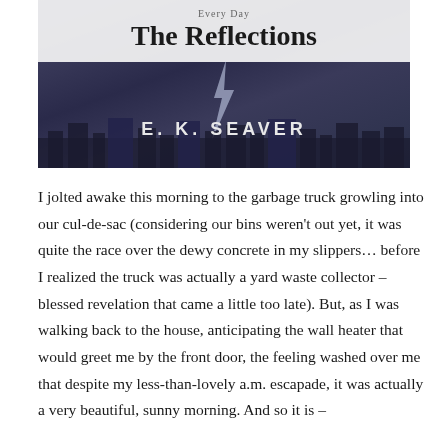[Figure (illustration): Book cover for 'The Reflections' by E. K. Seaver. Dark blue-grey cityscape background with lightning, white title box at top with the book title in bold serif font and author name in white spaced letters near the bottom.]
I jolted awake this morning to the garbage truck growling into our cul-de-sac (considering our bins weren't out yet, it was quite the race over the dewy concrete in my slippers… before I realized the truck was actually a yard waste collector – blessed revelation that came a little too late). But, as I was walking back to the house, anticipating the wall heater that would greet me by the front door, the feeling washed over me that despite my less-than-lovely a.m. escapade, it was actually a very beautiful, sunny morning. And so it is –